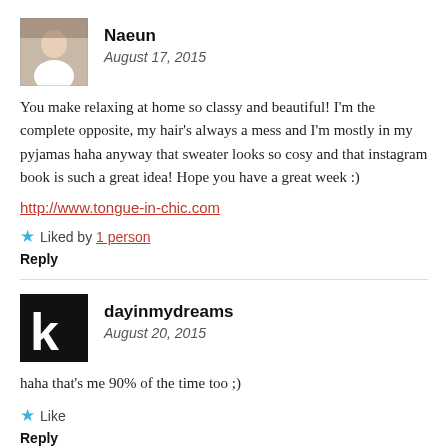Naeun
August 17, 2015
You make relaxing at home so classy and beautiful! I'm the complete opposite, my hair's always a mess and I'm mostly in my pyjamas haha anyway that sweater looks so cosy and that instagram book is such a great idea! Hope you have a great week :)
http://www.tongue-in-chic.com
Liked by 1 person
Reply
dayinmydreams
August 20, 2015
haha that's me 90% of the time too ;)
Like
Reply